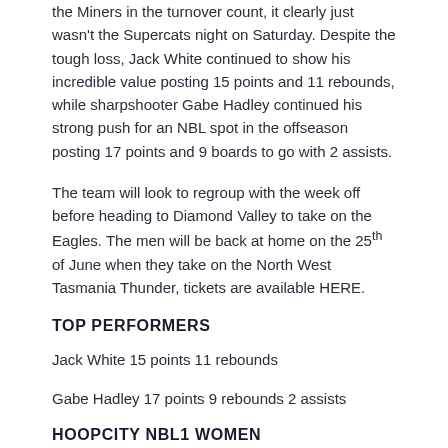the Miners in the turnover count, it clearly just wasn't the Supercats night on Saturday. Despite the tough loss, Jack White continued to show his incredible value posting 15 points and 11 rebounds, while sharpshooter Gabe Hadley continued his strong push for an NBL spot in the offseason posting 17 points and 9 boards to go with 2 assists.
The team will look to regroup with the week off before heading to Diamond Valley to take on the Eagles. The men will be back at home on the 25th of June when they take on the North West Tasmania Thunder, tickets are available HERE.
TOP PERFORMERS
Jack White 15 points 11 rebounds
Gabe Hadley 17 points 9 rebounds 2 assists
HOOPCITY NBL1 WOMEN